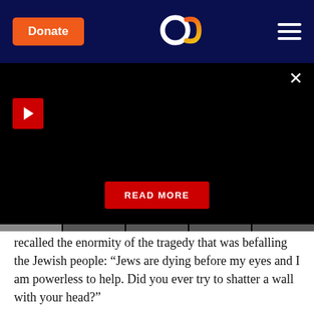Donate | [Aish logo] | [menu]
[Figure (screenshot): Black video player area with red play button, close X button, and a red READ MORE button centered near bottom]
recalled the enormity of the tragedy that was befalling the Jewish people: “Jews are dying before my eyes and I am powerless to help. Did you ever try to shatter a wall with your head?”
The Baum Group – Resisting Nazis in Berlin
When the Nazis seized power in Germany in 1933 Herbert and Marianne Baum, a young Jewish couple living in Berlin, began organizing secret meetings to